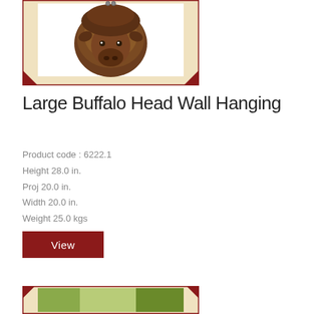[Figure (photo): Buffalo head wall hanging sculpture shown on a cream/beige background with dark red decorative border frame with corner accents]
Large Buffalo Head Wall Hanging
Product code : 6222.1
Height 28.0 in.
Proj 20.0 in.
Width 20.0 in.
Weight 25.0 kgs
Weight pounds.
View
[Figure (photo): Partial view of a second product image with nature/outdoor background, same decorative frame style]